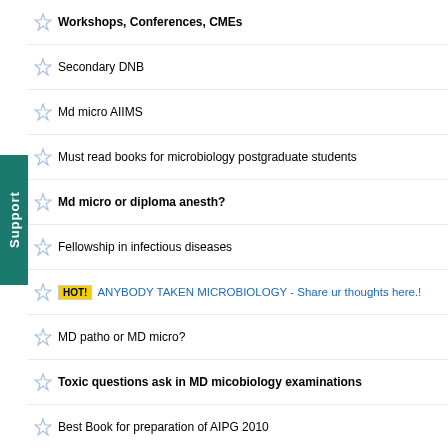Workshops, Conferences, CMEs
Secondary DNB
Md micro AIIMS
Must read books for microbiology postgraduate students
Md micro or diploma anesth?
Fellowship in infectious diseases
HOT! ANYBODY TAKEN MICROBIOLOGY - Share ur thoughts here.!
MD patho or MD micro?
Toxic questions ask in MD micobiology examinations
Best Book for preparation of AIPG 2010
View all Latest discuss
Top active topics in Microbiology Career Forum
Topics
What is the career scope after MD Microbiology?